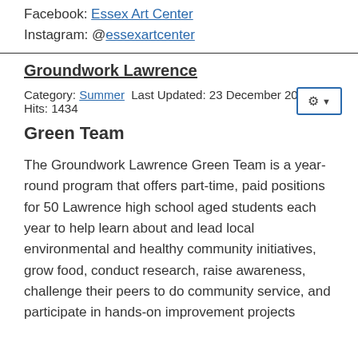Facebook: Essex Art Center
Instagram: @essexartcenter
Groundwork Lawrence
Category: Summer  Last Updated: 23 December 2019
Hits: 1434
Green Team
The Groundwork Lawrence Green Team is a year-round program that offers part-time, paid positions for 50 Lawrence high school aged students each year to help learn about and lead local environmental and healthy community initiatives, grow food, conduct research, raise awareness, challenge their peers to do community service, and participate in hands-on improvement projects